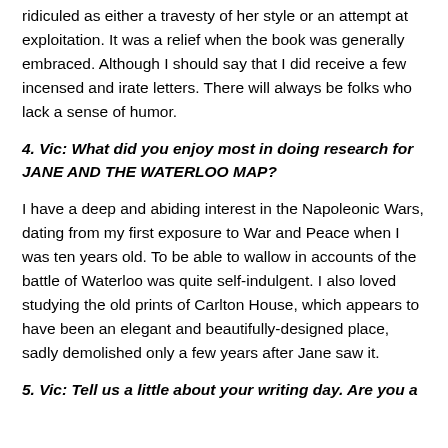ridiculed as either a travesty of her style or an attempt at exploitation. It was a relief when the book was generally embraced. Although I should say that I did receive a few incensed and irate letters. There will always be folks who lack a sense of humor.
4. Vic: What did you enjoy most in doing research for JANE AND THE WATERLOO MAP?
I have a deep and abiding interest in the Napoleonic Wars, dating from my first exposure to War and Peace when I was ten years old. To be able to wallow in accounts of the battle of Waterloo was quite self-indulgent. I also loved studying the old prints of Carlton House, which appears to have been an elegant and beautifully-designed place, sadly demolished only a few years after Jane saw it.
5. Vic: Tell us a little about your writing day. Are you a